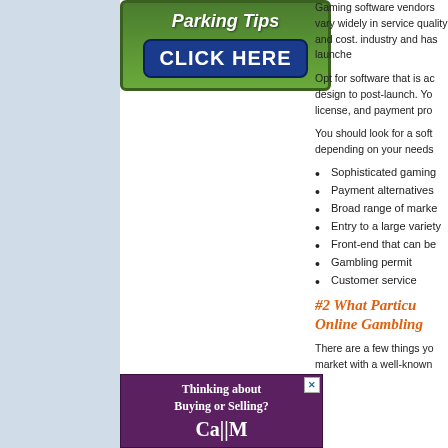[Figure (illustration): Parking Tips advertisement banner with green background and blue 'CLICK HERE' button]
Gaming software vendors vary widely in service quality and cost. industry and has launche
Opt for software that is ac design to post-launch. Yo license, and payment pro
You should look for a soft depending on your needs
Sophisticated gaming
Payment alternatives
Broad range of marke
Entry to a large variety
Front-end that can be
Gambling permit
Customer service
#2 What Particu Online Gambling
There are a few things yo market with a well-known
[Figure (illustration): Purple advertisement banner: Thinking about Buying or Selling? with large text below]